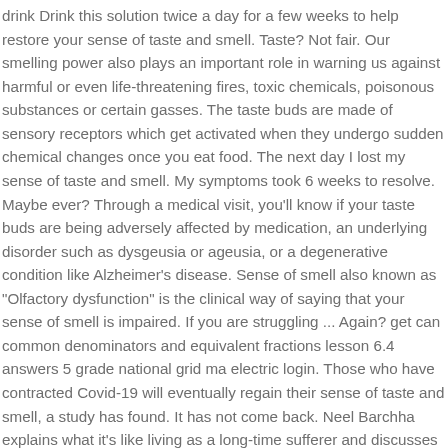drink Drink this solution twice a day for a few weeks to help restore your sense of taste and smell. Taste? Not fair. Our smelling power also plays an important role in warning us against harmful or even life-threatening fires, toxic chemicals, poisonous substances or certain gasses. The taste buds are made of sensory receptors which get activated when they undergo sudden chemical changes once you eat food. The next day I lost my sense of taste and smell. My symptoms took 6 weeks to resolve. Maybe ever? Through a medical visit, you'll know if your taste buds are being adversely affected by medication, an underlying disorder such as dysgeusia or ageusia, or a degenerative condition like Alzheimer's disease. Sense of smell also known as "Olfactory dysfunction" is the clinical way of saying that your sense of smell is impaired. If you are struggling ... Again? get can common denominators and equivalent fractions lesson 6.4 answers 5 grade national grid ma electric login. Those who have contracted Covid-19 will eventually regain their sense of taste and smell, a study has found. It has not come back. Neel Barchha explains what it's like living as a long-time sufferer and discusses what dental practices can do to help their patients (and themselves) get it back. New research is showing a connection between a loss of smell and taste and the coronavirus. I cannot tell you how long